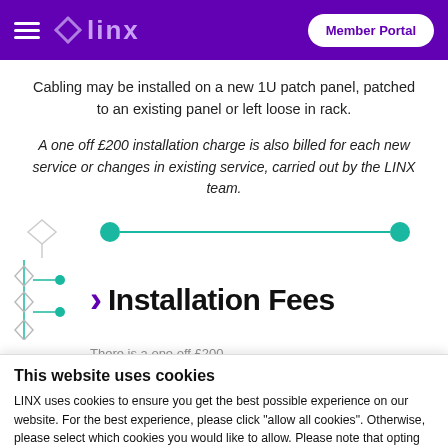LINX — Member Portal
Cabling may be installed on a new 1U patch panel, patched to an existing panel or left loose in rack.
A one off £200 installation charge is also billed for each new service or changes in existing service, carried out by the LINX team.
[Figure (illustration): Decorative network diagram with teal dots connected by a horizontal line, and a diamond shape on the left]
Installation Fees
[Figure (illustration): Left side decorative diagram with diamond shapes and small teal dots connected by lines]
This website uses cookies
LINX uses cookies to ensure you get the best possible experience on our website. For the best experience, please click "allow all cookies". Otherwise, please select which cookies you would like to allow. Please note that opting out of 'Preference' cookies will mean our live chat function on our member portal will not work for you. View our Cookie Policy here.